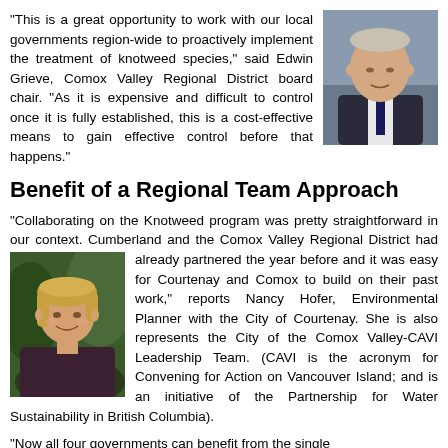[Figure (photo): Headshot of Edwin Grieve, Comox Valley Regional District board chair, older man in suit and tie]
“This is a great opportunity to work with our local governments region-wide to proactively implement the treatment of knotweed species,” said Edwin Grieve, Comox Valley Regional District board chair. “As it is expensive and difficult to control once it is fully established, this is a cost-effective means to gain effective control before that happens.”
Benefit of a Regional Team Approach
“Collaborating on the Knotweed program was pretty straightforward in our context. Cumberland and the Comox Valley Regional District had already partnered the year before and it was easy for Courtenay and Comox to build on their past work,” reports Nancy Hofer, Environmental Planner with the City of Courtenay. She is also represents the City of the Comox Valley-CAVI Leadership Team. (CAVI is the acronym for Convening for Action on Vancouver Island; and is an initiative of the Partnership for Water Sustainability in British Columbia).
[Figure (photo): Photo of Nancy Hofer, Environmental Planner with the City of Courtenay, smiling woman with blonde hair]
“Now all four governments can benefit from the single